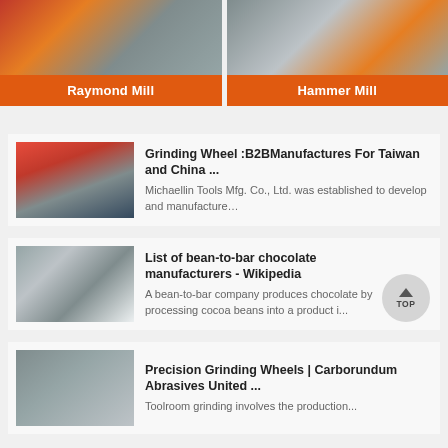[Figure (photo): Raymond Mill product card with orange label]
[Figure (photo): Hammer Mill product card with orange label]
[Figure (photo): Industrial grinding wheel machinery thumbnail]
Grinding Wheel :B2BManufactures For Taiwan and China ...
Michaellin Tools Mfg. Co., Ltd. was established to develop and manufacture…
[Figure (photo): Industrial factory/plant thumbnail]
List of bean-to-bar chocolate manufacturers - Wikipedia
A bean-to-bar company produces chocolate by processing cocoa beans into a product i...
[Figure (photo): Precision grinding industrial equipment thumbnail]
Precision Grinding Wheels | Carborundum Abrasives United ...
Toolroom grinding involves the production...